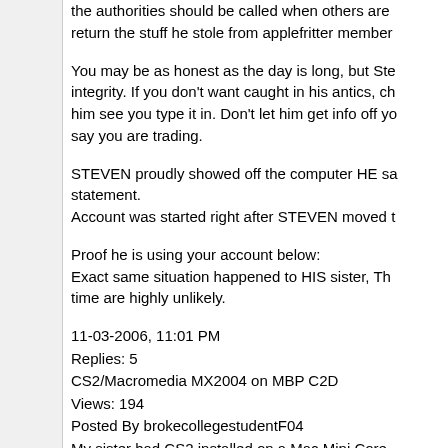the authorities should be called when others are return the stuff he stole from applefritter member
You may be as honest as the day is long, but Ste integrity. If you don't want caught in his antics, ch him see you type it in. Don't let him get info off yo say you are trading.
STEVEN proudly showed off the computer HE sa statement.
Account was started right after STEVEN moved t
Proof he is using your account below:
Exact same situation happened to HIS sister, Th time are highly unlikely.
11-03-2006, 11:01 PM
Replies: 5
CS2/Macromedia MX2004 on MBP C2D
Views: 194
Posted By brokecollegestudentF04
My sister had CS2 installed on a Mac Mini Core.
My sister had CS2 installed on a Mac Mini Core took the mini back and bought a 1.67ghz PowerB